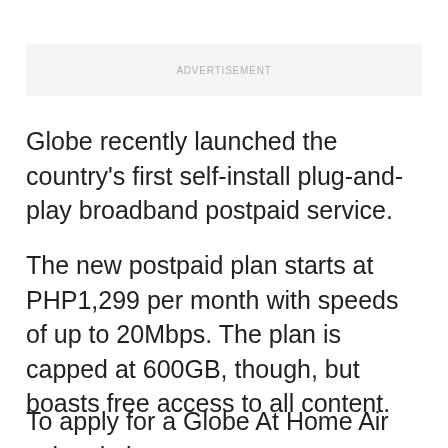[Figure (other): Advertisement placeholder box with grey background and 'ADVERTISEMENT' label]
Globe recently launched the country's first self-install plug-and-play broadband postpaid service.
The new postpaid plan starts at PHP1,299 per month with speeds of up to 20Mbps. The plan is capped at 600GB, though, but boasts free access to all content.
To apply for a Globe At Home Air subscription